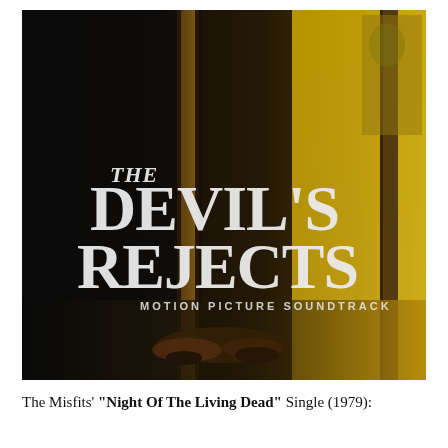[Figure (photo): Movie soundtrack album cover for 'The Devil's Rejects Motion Picture Soundtrack'. Dark cinematic image showing a dimly lit corridor/hallway with golden/yellow light on the right side. A person appears to be lying on the floor at the bottom. The title 'The Devil's Rejects' is displayed in large distressed white serif lettering with 'THE' smaller above 'DEVIL'S' and 'REJECTS' below. Beneath the title text reads 'MOTION PICTURE SOUNDTRACK' in smaller spaced caps.]
The Misfits' "Night Of The Living Dead" Single (1979):